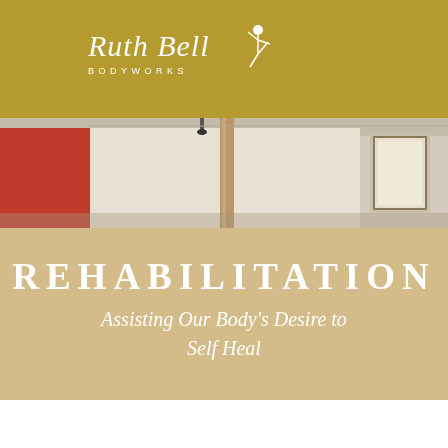[Figure (logo): Ruth Bell Bodyworks logo — italic script 'Ruth Bell' with a stylized figure, and 'BODYWORKS' in spaced capitals below]
[Figure (photo): Interior room photograph showing a red panel wall, cream walls, a wooden beam or post, and a framed certificate on the right wall]
REHABILITATION
Assisting Our Body's Desire to Self Heal